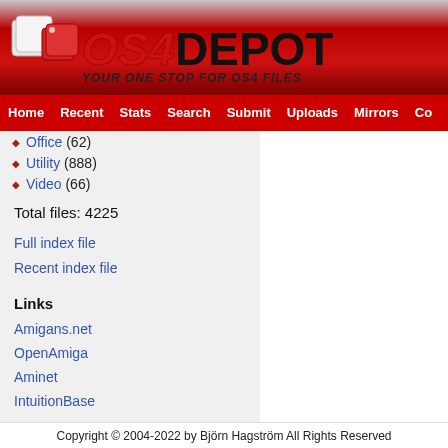[Figure (logo): OS4 Depot logo with red and black text on gradient red banner background with dice/cube icon]
Home  Recent  Stats  Search  Submit  Uploads  Mirrors  Co
Office (62)
Utility (888)
Video (66)
Total files: 4225
Full index file
Recent index file
Links
Amigans.net
OpenAmiga
Aminet
IntuitionBase
Support the site
[Figure (other): Donate button — yellow gradient rounded rectangle with italic bold text 'Donate']
Copyright © 2004-2022 by Björn Hagström All Rights Reserved